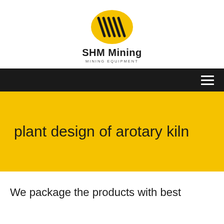[Figure (logo): SHM Mining logo: yellow oval with black diagonal lines/stripes, company name 'SHM Mining' and tagline 'MINING EQUIPMENT']
SHM Mining
MINING EQUIPMENT
plant design of arotary kiln
We package the products with best